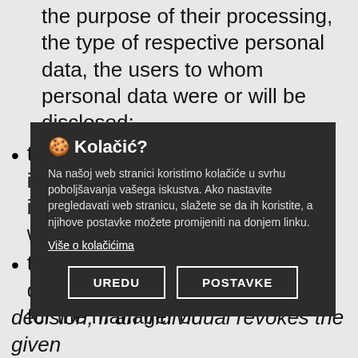the purpose of their processing, the type of respective personal data, the users to whom personal data were or will be disclosed;
the right to amend or supplement in case of incorrect or inaccurate information about an individual without undue delay;
the right to forget, the right to be deleted: the right of an individual for the manager or
[Figure (screenshot): Cookie consent overlay in Croatian language with title 'Kolačić?', description text about cookies, a link 'Više o kolačićima', and two buttons: UREDU and POSTAVKE]
decision; if an individual revokes the given